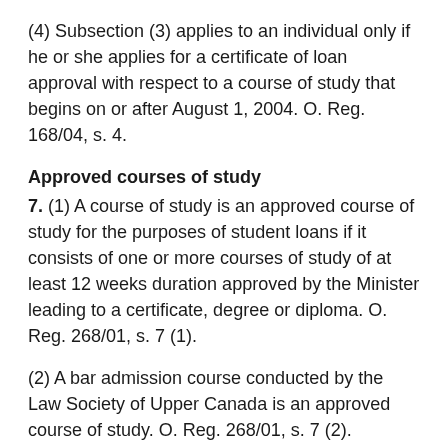(4) Subsection (3) applies to an individual only if he or she applies for a certificate of loan approval with respect to a course of study that begins on or after August 1, 2004. O. Reg. 168/04, s. 4.
Approved courses of study
7. (1) A course of study is an approved course of study for the purposes of student loans if it consists of one or more courses of study of at least 12 weeks duration approved by the Minister leading to a certificate, degree or diploma. O. Reg. 268/01, s. 7 (1).
(2) A bar admission course conducted by the Law Society of Upper Canada is an approved course of study. O. Reg. 268/01, s. 7 (2).